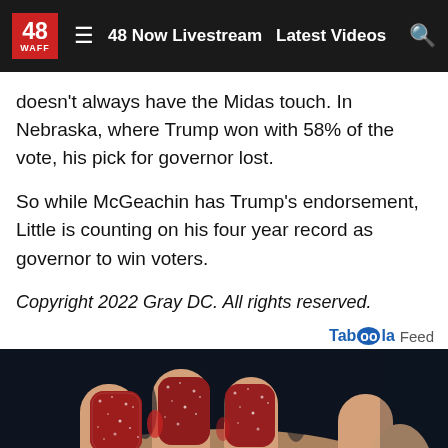48 WAFF | 48 Now Livestream | Latest Videos
doesn't always have the Midas touch. In Nebraska, where Trump won with 58% of the vote, his pick for governor lost.
So while McGeachin has Trump's endorsement, Little is counting on his four year record as governor to win voters.
Copyright 2022 Gray DC. All rights reserved.
Taboola Feed
[Figure (photo): A hand holding several red sugar-coated gummy candies against a dark background]